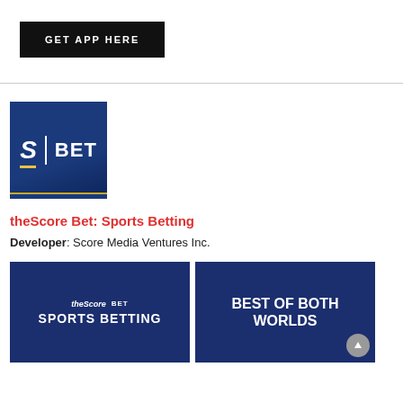[Figure (other): Black button with white uppercase text: GET APP HERE]
[Figure (logo): theScore Bet logo — dark blue square with stylized S, vertical bar, and BET text, yellow underline accent]
theScore Bet: Sports Betting
Developer: Score Media Ventures Inc.
[Figure (screenshot): Dark blue app screenshot showing theScore BET logo and text SPORTS BETTING]
[Figure (screenshot): Dark blue app screenshot showing text BEST OF BOTH WORLDS]